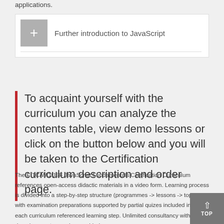applications.
Further introduction to JavaScript
To acquaint yourself with the curriculum you can analyze the contents table, view demo lessons or click on the button below and you will be taken to the Certification curriculum description and order page.
The EITC/WD/JSF JavaScript Fundamentals Certification Curriculum references open-access didactic materials in a video form. Learning process is divided into a step-by-step structure (programmes -> lessons -> topics) with examination preparations supported by partial quizes included into each curriculum referenced learning step. Unlimited consultancy with domain experts are also provided.